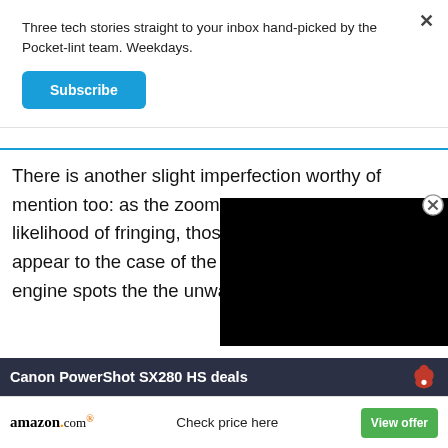Three tech stories straight to your inbox hand-picked by the Pocket-lint team. Weekdays.
Subscribe
There is another slight imperfection worthy of mention too: as the zoom extends there's increased likelihood of fringing, those coloured shadows that can appear to edges. But in the case of the SX280 they're minimal as the processing engine spots them and corrects the unwanted colour.
Canon PowerShot SX280 HS deals
amazon.com
Check price here
View offer